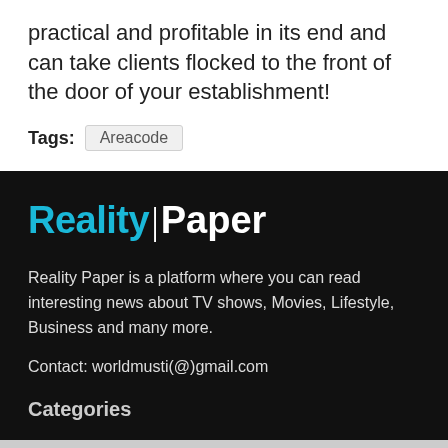practical and profitable in its end and can take clients flocked to the front of the door of your establishment!
Tags: Areacode
[Figure (logo): Reality Paper logo with cyan 'Reality' text, vertical divider, and white 'Paper' text on black background]
Reality Paper is a platform where you can read interesting news about TV shows, Movies, Lifestyle, Business and many more.
Contact: worldmusti(@)gmail.com
Categories
Apps   Food   Politics